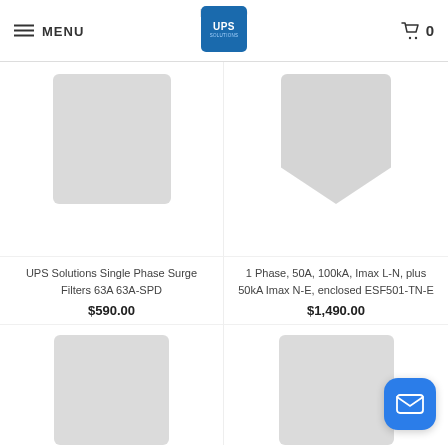MENU | UPS Solutions | 0
[Figure (photo): Product image: UPS Solutions Single Phase Surge Filter, rectangular box shape, light gray]
UPS Solutions Single Phase Surge Filters 63A 63A-SPD
$590.00
[Figure (photo): Product image: 1 Phase 50A 100kA surge filter, shield shape, light gray]
1 Phase, 50A, 100kA, Imax L-N, plus 50kA Imax N-E, enclosed ESF501-TN-E
$1,490.00
[Figure (photo): Product image: bottom-left product, rectangular box shape, light gray, partially visible]
[Figure (photo): Product image: bottom-right product, rectangular box shape, light gray, partially visible]